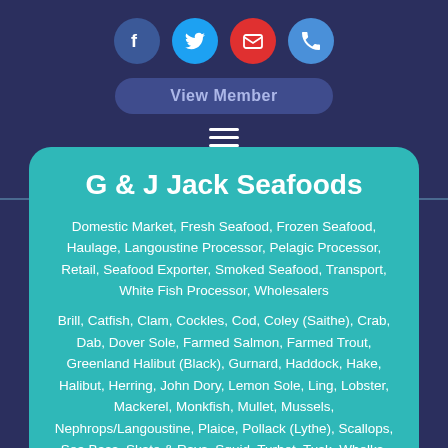[Figure (other): Social media icons: Facebook (blue circle), Twitter (blue circle), Email (red circle), Phone (blue circle)]
View Member
[Figure (other): Hamburger menu icon (three horizontal white lines)]
G & J Jack Seafoods
Domestic Market, Fresh Seafood, Frozen Seafood, Haulage, Langoustine Processor, Pelagic Processor, Retail, Seafood Exporter, Smoked Seafood, Transport, White Fish Processor, Wholesalers
Brill, Catfish, Clam, Cockles, Cod, Coley (Saithe), Crab, Dab, Dover Sole, Farmed Salmon, Farmed Trout, Greenland Halibut (Black), Gurnard, Haddock, Hake, Halibut, Herring, John Dory, Lemon Sole, Ling, Lobster, Mackerel, Monkfish, Mullet, Mussels, Nephrops/Langoustine, Plaice, Pollack (Lythe), Scallops, Sea Bass, Skate & Rays, Squid, Turbot, Tusk, Whelks, Whiting, Winkles, Witch